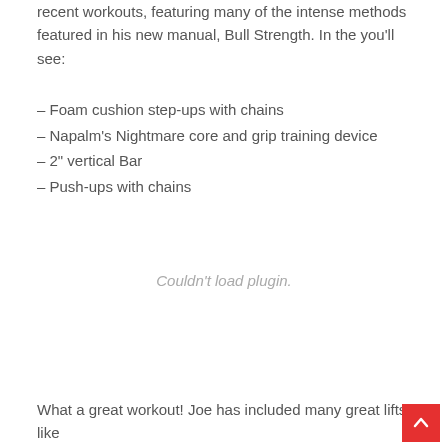recent workouts, featuring many of the intense methods featured in his new manual, Bull Strength. In the you'll see:
– Foam cushion step-ups with chains
– Napalm's Nightmare core and grip training device
– 2" vertical Bar
– Push-ups with chains
[Figure (other): Couldn't load plugin. placeholder area for embedded video or media plugin]
What a great workout! Joe has included many great lifts like